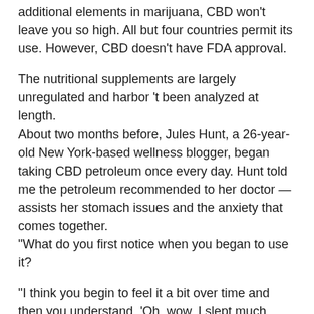additional elements in marijuana, CBD won't leave you so high. All but four countries permit its use. However, CBD doesn't have FDA approval.
The nutritional supplements are largely unregulated and harbor 't been analyzed at length.
About two months before, Jules Hunt, a 26-year-old New York-based wellness blogger, began taking CBD petroleum once every day. Hunt told me the petroleum recommended to her doctor — assists her stomach issues and the anxiety that comes together.
"What do you first notice when you began to use it?
"I think you begin to feel it a bit over time and then you understand, 'Oh, wow, I slept much better that day. I didn't wake up in a panic thinking about my extended to-do record for the next day,'" Hunt said.